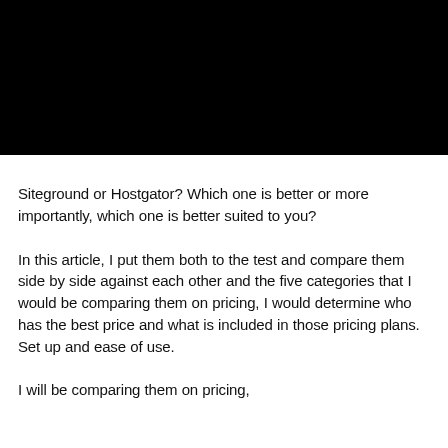[Figure (photo): Black rectangular image at the top of the page]
Siteground or Hostgator? Which one is better or more importantly, which one is better suited to you?
In this article, I put them both to the test and compare them side by side against each other and the five categories that I would be comparing them on pricing, I would determine who has the best price and what is included in those pricing plans. Set up and ease of use.
I will be comparing them on pricing, I would determine who has the best price and what is included in those pricing plans. Set up and ease of use.